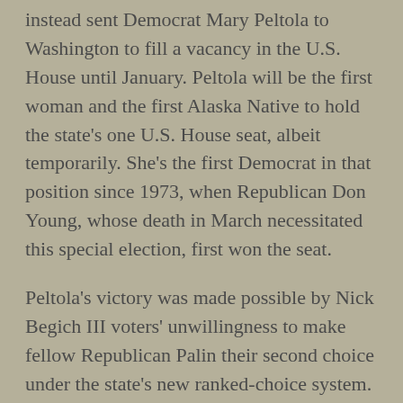instead sent Democrat Mary Peltola to Washington to fill a vacancy in the U.S. House until January. Peltola will be the first woman and the first Alaska Native to hold the state's one U.S. House seat, albeit temporarily. She's the first Democrat in that position since 1973, when Republican Don Young, whose death in March necessitated this special election, first won the seat.
Peltola's victory was made possible by Nick Begich III voters' unwillingness to make fellow Republican Palin their second choice under the state's new ranked-choice system. In the top-four primary on June 11, Palin finished first, Begich was second, independent Al Gross was third, and Peltola — who had a mere 10 percent of the vote — was fourth. But Gross soon dropped out, creating a top-three general election with Peltola drawing a lot of Gross's supporters.
The general election took place on August 16, but the